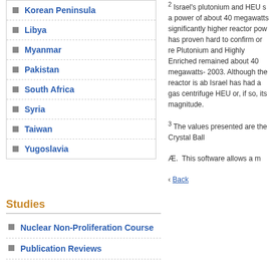Korean Peninsula
Libya
Myanmar
Pakistan
South Africa
Syria
Taiwan
Yugoslavia
Studies
Nuclear Non-Proliferation Course
Publication Reviews
2 Israel's plutonium and HEU s... a power of about 40 megawatts... significantly higher reactor pow... has proven hard to confirm or r... Plutonium and Highly Enriched ... remained about 40 megawatts-... 2003. Although the reactor is ab... Israel has had a gas centrifuge ... HEU or, if so, its magnitude.
3 The values presented are the... Crystal Ball
Æ. This software allows a m...
‹ Back